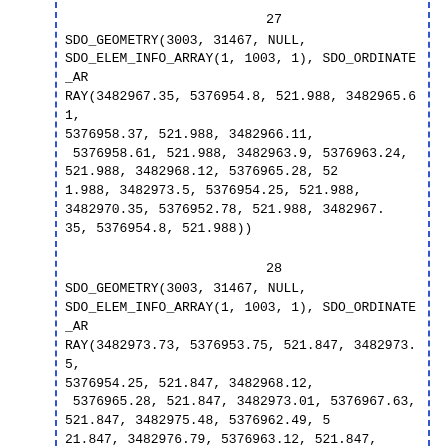27
SDO_GEOMETRY(3003, 31467, NULL, SDO_ELEM_INFO_ARRAY(1, 1003, 1), SDO_ORDINATE_ARRAY(3482967.35, 5376954.8, 521.988, 3482965.61, 5376958.37, 521.988, 3482966.11,
 5376958.61, 521.988, 3482963.9, 5376963.24, 521.988, 3482968.12, 5376965.28, 52
1.988, 3482973.5, 5376954.25, 521.988, 3482970.35, 5376952.78, 521.988, 3482967.
35, 5376954.8, 521.988))
28
SDO_GEOMETRY(3003, 31467, NULL, SDO_ELEM_INFO_ARRAY(1, 1003, 1), SDO_ORDINATE_ARRAY(3482973.73, 5376953.75, 521.847, 3482973.5, 5376954.25, 521.847, 3482968.12,
 5376965.28, 521.847, 3482973.01, 5376967.63, 521.847, 3482975.48, 5376962.49, 5
21.847, 3482976.79, 5376963.12, 521.847, 3482979.9, 5376956.67, 521.847, 3482977